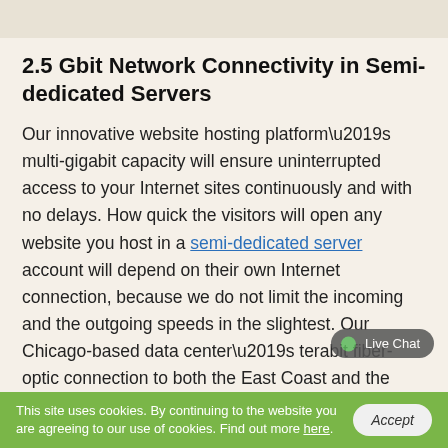2.5 Gbit Network Connectivity in Semi-dedicated Servers
Our innovative website hosting platform’s multi-gigabit capacity will ensure uninterrupted access to your Internet sites continuously and with no delays. How quick the visitors will open any website you host in a semi-dedicated server account will depend on their own Internet connection, because we do not limit the incoming and the outgoing speeds in the slightest. Our Chicago-based data center’s terabit fiber-optic connection to both the East Coast and the West Coast will help you reach millions of users and potential clients from North America without any difficulty. Hardware firewalls will stop any unwelcome traffic to the web servers to make sure that the channel
This site uses cookies. By continuing to the website you are agreeing to our use of cookies. Find out more here.